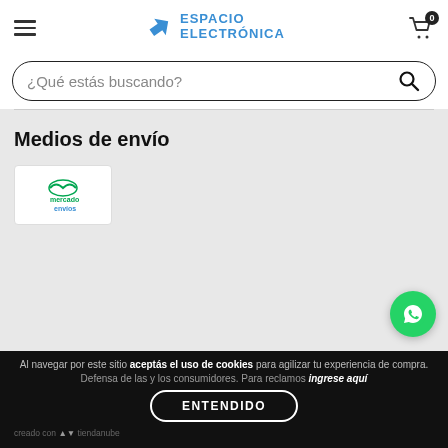Espacio Electronica
¿Qué estás buscando?
Medios de envío
[Figure (logo): Mercado Envíos logo — green icon with 'mercado envíos' text]
[Figure (logo): WhatsApp floating button (green circle with WhatsApp icon)]
Al navegar por este sitio aceptás el uso de cookies para agilizar tu experiencia de compra.
Defensa de las y los consumidores. Para reclamos ingrese aquí
creado con Tiendanube